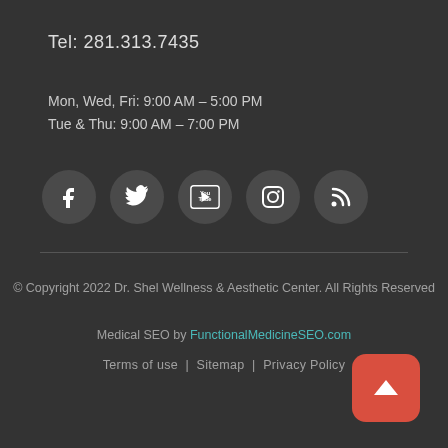Tel: 281.313.7435
Mon, Wed, Fri: 9:00 AM – 5:00 PM
Tue & Thu: 9:00 AM – 7:00 PM
[Figure (infographic): Row of 5 social media icon circles: Facebook, Twitter, YouTube, Instagram, RSS]
© Copyright 2022 Dr. Shel Wellness & Aesthetic Center. All Rights Reserved
Medical SEO by FunctionalMedicineSEO.com
Terms of use | Sitemap | Privacy Policy